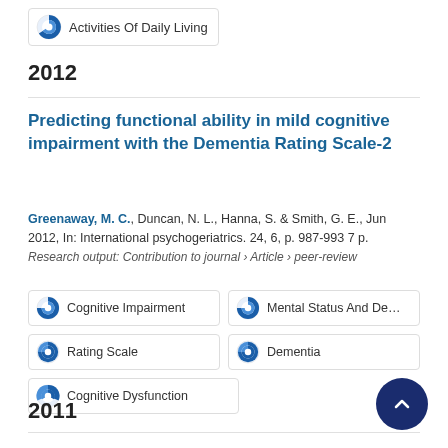Activities Of Daily Living
2012
Predicting functional ability in mild cognitive impairment with the Dementia Rating Scale-2
Greenaway, M. C., Duncan, N. L., Hanna, S. & Smith, G. E., Jun 2012, In: International psychogeriatrics. 24, 6, p. 987-993 7 p.
Research output: Contribution to journal › Article › peer-review
Cognitive Impairment
Mental Status And Dementia Te
Rating Scale
Dementia
Cognitive Dysfunction
2011